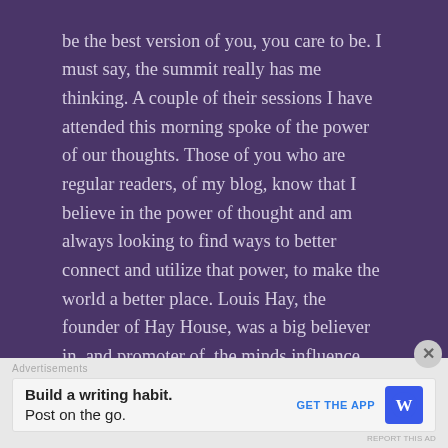be the best version of you, you care to be. I must say, the summit really has me thinking. A couple of their sessions I have attended this morning spoke of the power of our thoughts. Those of you who are regular readers, of my blog, know that I believe in the power of thought and am always looking to find ways to better connect and utilize that power, to make the world a better place. Louis Hay, the founder of Hay House, was a big believer in, and promoter of, the minds influence over our health.

Several years ago I started a Holistic Healing Practice. I named my business Divine Wisdom. I believed that
[Figure (other): Advertisement banner at the bottom of the page with the text 'Build a writing habit. Post on the go.' and a 'GET THE APP' call-to-action with a WordPress logo.]